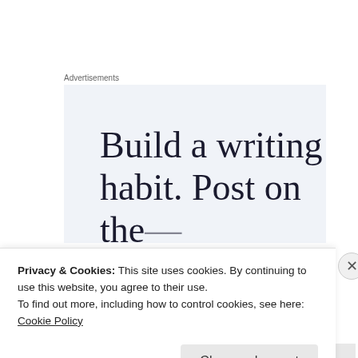Advertisements
[Figure (screenshot): Advertisement box with light blue background showing partial text: 'Build a writing habit. Post on the...']
SHEIFGAB!
[Figure (photo): Partial circular/round image at bottom left]
Privacy & Cookies: This site uses cookies. By continuing to use this website, you agree to their use.
To find out more, including how to control cookies, see here: Cookie Policy
Close and accept